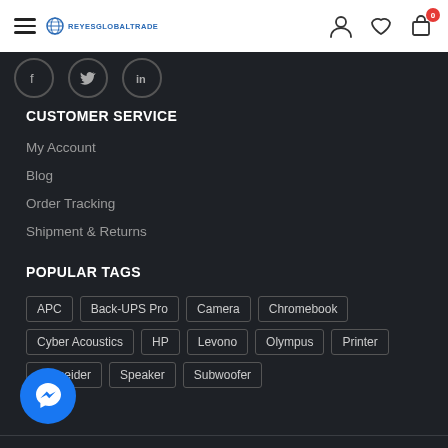REYESGLOBALTRADE - navigation bar with hamburger menu, logo, user icon, wishlist icon, cart icon with badge 0
[Figure (illustration): Social media icons: Facebook, Twitter, LinkedIn in circular bordered buttons]
CUSTOMER SERVICE
My Account
Blog
Order Tracking
Shipment & Returns
POPULAR TAGS
APC | Back-UPS Pro | Camera | Chromebook | Cyber Acoustics | HP | Levono | Olympus | Printer | Schneider | Speaker | Subwoofer
[Figure (illustration): Facebook Messenger chat button (blue circle with messenger icon)]